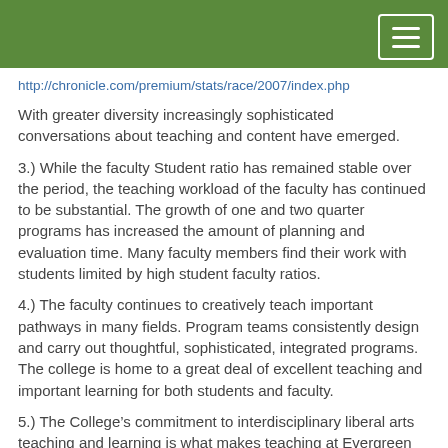http://chronicle.com/premium/stats/race/2007/index.php
With greater diversity increasingly sophisticated conversations about teaching and content have emerged.
3.) While the faculty Student ratio has remained stable over the period, the teaching workload of the faculty has continued to be substantial. The growth of one and two quarter programs has increased the amount of planning and evaluation time. Many faculty members find their work with students limited by high student faculty ratios.
4.) The faculty continues to creatively teach important pathways in many fields. Program teams consistently design and carry out thoughtful, sophisticated, integrated programs. The college is home to a great deal of excellent teaching and important learning for both students and faculty.
5.) The College’s commitment to interdisciplinary liberal arts teaching and learning is what makes teaching at Evergreen so distinctive, offers the biggest challenges, and provides the most transformative experiences for